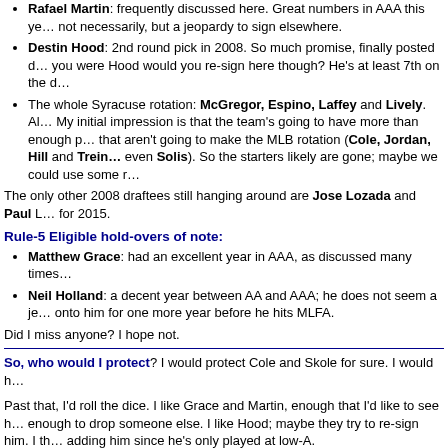Rafael Martin: frequently discussed here. Great numbers in AAA this year — not necessarily, but a jeopardy to sign elsewhere.
Destin Hood: 2nd round pick in 2008. So much promise, finally posted decent numbers. If you were Hood would you re-sign here though? He's at least 7th on the depth chart.
The whole Syracuse rotation: McGregor, Espino, Laffey and Lively. Also guys that aren't going to make the MLB rotation (Cole, Jordan, Hill and Treinen, maybe even Solis). So the starters likely are gone; maybe we could use some relief.
The only other 2008 draftees still hanging around are Jose Lozada and Paul — for 2015.
Rule-5 Eligible hold-overs of note:
Matthew Grace: had an excellent year in AAA, as discussed many times.
Neil Holland: a decent year between AA and AAA; he does not seem a jeopardy to hold onto him for one more year before he hits MLFA.
Did I miss anyone?  I hope not.
So, who would I protect?  I would protect Cole and Skole for sure.  I would h
Past that, I'd roll the dice.  I like Grace and Martin, enough that I'd like to see h — enough to drop someone else.  I like Hood; maybe they try to re-sign him.  I th — adding him since he's only played at low-A.